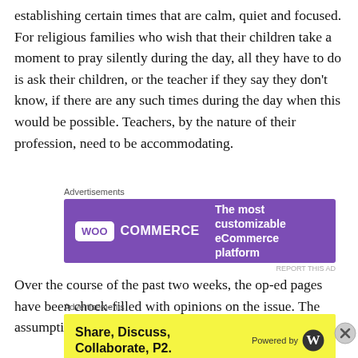establishing certain times that are calm, quiet and focused. For religious families who wish that their children take a moment to pray silently during the day, all they have to do is ask their children, or the teacher if they say they don't know, if there are any such times during the day when this would be possible. Teachers, by the nature of their profession, need to be accommodating.
[Figure (other): WooCommerce advertisement: purple banner with WooCommerce logo and text 'The most customizable eCommerce platform']
Over the course of the past two weeks, the op-ed pages have been chock-filled with opinions on the issue. The assumption, of course, is that this “moment of silence” is
[Figure (other): P2 advertisement: yellow banner with text 'Share, Discuss, Collaborate, P2.' and WordPress logo with 'Powered by']